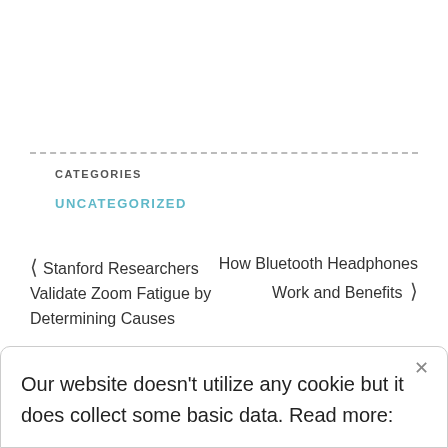CATEGORIES
UNCATEGORIZED
‹ Stanford Researchers Validate Zoom Fatigue by Determining Causes
How Bluetooth Headphones Work and Benefits ›
Our website doesn't utilize any cookie but it does collect some basic data. Read more: